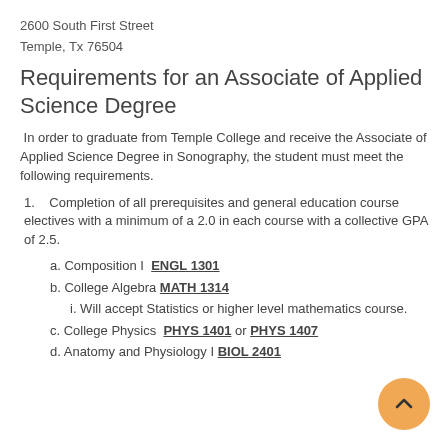2600 South First Street
Temple, Tx 76504
Requirements for an Associate of Applied Science Degree
In order to graduate from Temple College and receive the Associate of Applied Science Degree in Sonography, the student must meet the following requirements.
1. Completion of all prerequisites and general education course electives with a minimum of a 2.0 in each course with a collective GPA of 2.5.
a. Composition I  ENGL 1301
b. College Algebra  MATH 1314
i. Will accept Statistics or higher level mathematics course.
c. College Physics  PHYS 1401 or PHYS 1407
d. Anatomy and Physiology I  BIOL 2401